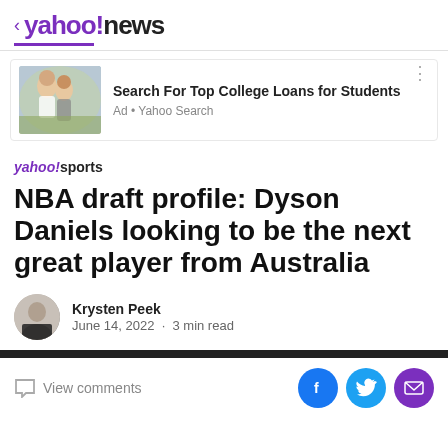< yahoo!news
[Figure (screenshot): Advertisement banner: Search For Top College Loans for Students. Ad • Yahoo Search. Image shows two young women laughing outdoors.]
yahoo!sports
NBA draft profile: Dyson Daniels looking to be the next great player from Australia
Krysten Peek
June 14, 2022 · 3 min read
View comments